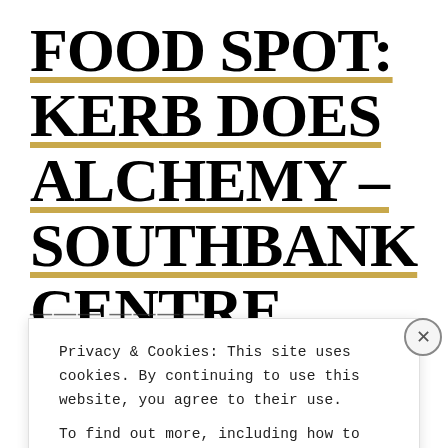FOOD SPOT: KERB DOES ALCHEMY – SOUTHBANK CENTRE
Privacy & Cookies: This site uses cookies. By continuing to use this website, you agree to their use.
To find out more, including how to control cookies, see here: Cookie Policy
Close and accept